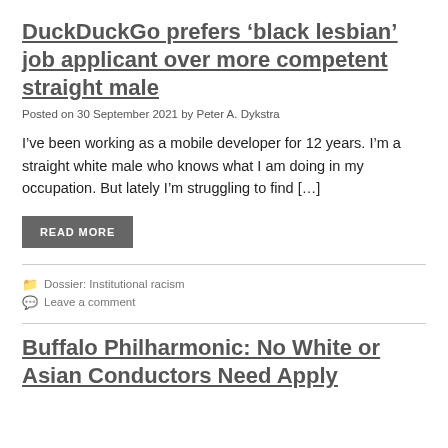DuckDuckGo prefers ‘black lesbian’ job applicant over more competent straight male
Posted on 30 September 2021 by Peter A. Dykstra
I’ve been working as a mobile developer for 12 years. I’m a straight white male who knows what I am doing in my occupation. But lately I’m struggling to find […]
READ MORE
Dossier: Institutional racism
Leave a comment
Buffalo Philharmonic: No White or Asian Conductors Need Apply